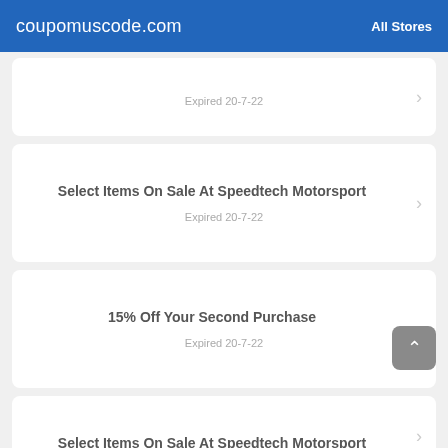coupomuscode.com   All Stores
Expired 20-7-22
Select Items On Sale At Speedtech Motorsport
Expired 20-7-22
15% Off Your Second Purchase
Expired 20-7-22
Select Items On Sale At Speedtech Motorsport